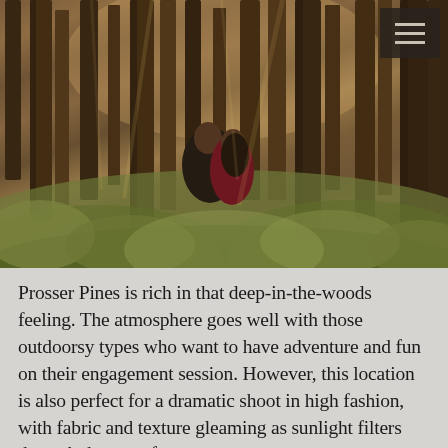[Figure (photo): A couple sharing a kiss in a dense pine forest. The man, wearing a dark jacket, and the woman, wearing a deep red/burgundy dress, are surrounded by tall pine trees and lush green undergrowth. Warm golden sunlight filters through the trees. A hamburger menu icon appears in the top-right corner on a dark background.]
Prosser Pines is rich in that deep-in-the-woods feeling. The atmosphere goes well with those outdoorsy types who want to have adventure and fun on their engagement session. However, this location is also perfect for a dramatic shoot in high fashion, with fabric and texture gleaming as sunlight filters through the trees for an